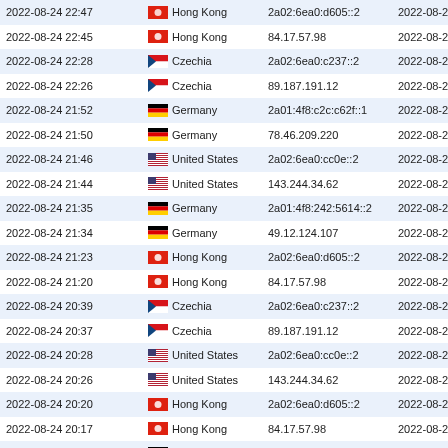| Date/Time | Country | IP Address | Date/Time |
| --- | --- | --- | --- |
| 2022-08-24 22:45 | Hong Kong | 84.17.57.98 | 2022-08-24 22:43 |
| 2022-08-24 22:28 | Czechia | 2a02:6ea0:c237::2 | 2022-08-24 22:28 |
| 2022-08-24 22:26 | Czechia | 89.187.191.12 | 2022-08-24 22:26 |
| 2022-08-24 21:52 | Germany | 2a01:4f8:c2c:c62f::1 | 2022-08-24 21:52 |
| 2022-08-24 21:50 | Germany | 78.46.209.220 | 2022-08-24 21:49 |
| 2022-08-24 21:46 | United States | 2a02:6ea0:cc0e::2 | 2022-08-24 21:46 |
| 2022-08-24 21:44 | United States | 143.244.34.62 | 2022-08-24 21:44 |
| 2022-08-24 21:35 | Germany | 2a01:4f8:242:5614::2 | 2022-08-24 21:34 |
| 2022-08-24 21:34 | Germany | 49.12.124.107 | 2022-08-24 21:33 |
| 2022-08-24 21:23 | Hong Kong | 2a02:6ea0:d605::2 | 2022-08-24 21:21 |
| 2022-08-24 21:20 | Hong Kong | 84.17.57.98 | 2022-08-24 21:19 |
| 2022-08-24 20:39 | Czechia | 2a02:6ea0:c237::2 | 2022-08-24 20:39 |
| 2022-08-24 20:37 | Czechia | 89.187.191.12 | 2022-08-24 20:36 |
| 2022-08-24 20:28 | United States | 2a02:6ea0:cc0e::2 | 2022-08-24 20:27 |
| 2022-08-24 20:26 | United States | 143.244.34.62 | 2022-08-24 20:26 |
| 2022-08-24 20:20 | Hong Kong | 2a02:6ea0:d605::2 | 2022-08-24 20:20 |
| 2022-08-24 20:17 | Hong Kong | 84.17.57.98 | 2022-08-24 20:16 |
| 2022-08-24 20:15 | Germany | 2a01:4f8:c2c:c62f::1 | 2022-08-24 20:14 |
| 2022-08-24 20:13 | Germany | 78.46.209.220 | 2022-08-24 20:12 |
| 2022-08-24 19:46 | Germany | 2a01:4f8:242:5614::2 | 2022-08-24 19:45 |